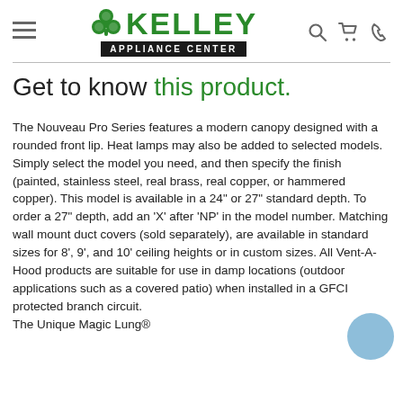Kelley Appliance Center
Get to know this product.
The Nouveau Pro Series features a modern canopy designed with a rounded front lip. Heat lamps may also be added to selected models. Simply select the model you need, and then specify the finish (painted, stainless steel, real brass, real copper, or hammered copper). This model is available in a 24" or 27" standard depth. To order a 27" depth, add an 'X' after 'NP' in the model number. Matching wall mount duct covers (sold separately), are available in standard sizes for 8', 9', and 10' ceiling heights or in custom sizes. All Vent-A-Hood products are suitable for use in damp locations (outdoor applications such as a covered patio) when installed in a GFCI protected branch circuit.
The Unique Magic Lung®